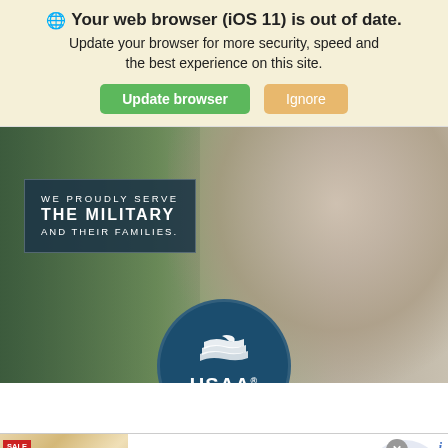Your web browser (iOS 11) is out of date. Update your browser for more security, speed and the best experience on this site. Update browser | Ignore
[Figure (screenshot): USAA advertisement banner showing a child holding a small American flag with text overlay reading 'WE PROUDLY SERVE THE MILITARY AND THEIR FAMILIES.' and USAA logo circle at bottom center.]
[Figure (screenshot): Advertisement for Cheryl's Cookie Delivery showing cookie image, title 'Cheryl's: Cookie Delivery', description 'we have an amazing variety of different types of cookies', URL 'cheryls.com', with close button and call-to-action arrow button.]